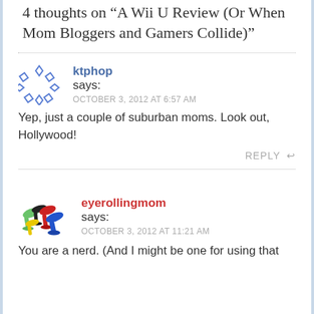4 thoughts on A Wii U Review (Or When Mom Bloggers and Gamers Collide)"
ktphop says:
OCTOBER 3, 2012 AT 6:57 AM
Yep, just a couple of suburban moms. Look out, Hollywood!
REPLY
eyerollingmom says:
OCTOBER 3, 2012 AT 11:21 AM
You are a nerd. (And I might be one for using that